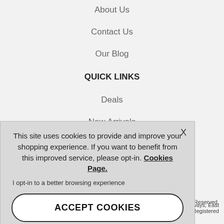About Us
Contact Us
Our Blog
QUICK LINKS
Deals
New Arrivals
Best Sellers
This site uses cookies to provide and improve your shopping experience. If you want to benefit from this improved service, please opt-in. Cookies Page.
I opt-in to a better browsing experience
ACCEPT COOKIES
Reserved.
ear LTD, Milliways, East d Kingdom, Registered
Company Registration Number 07679441 VAT no. GB135977083